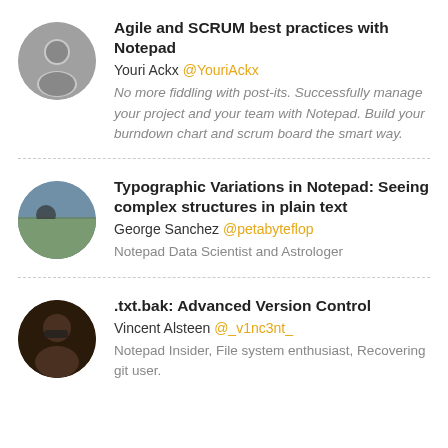[Figure (photo): Circular avatar photo of Youri Ackx, a man]
Agile and SCRUM best practices with Notepad
Youri Ackx @YouriAckx
No more fiddling with post-its. Successfully manage your project and your team with Notepad. Build your burndown chart and scrum board the smart way.
[Figure (photo): Circular avatar photo of George Sanchez]
Typographic Variations in Notepad: Seeing complex structures in plain text
George Sanchez @petabyteflop
Notepad Data Scientist and Astrologer
[Figure (photo): Circular avatar photo of Vincent Alsteen]
.txt.bak: Advanced Version Control
Vincent Alsteen @_v1nc3nt_
Notepad Insider, File system enthusiast, Recovering git user.